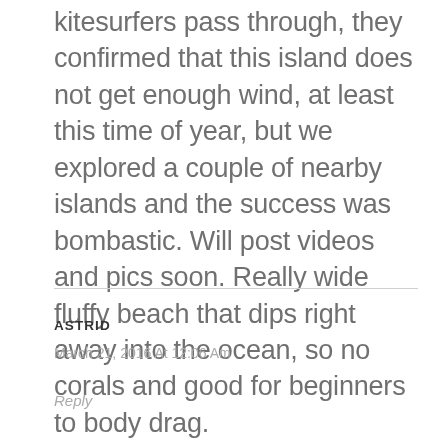kitesurfers pass through, they confirmed that this island does not get enough wind, at least this time of year, but we explored a couple of nearby islands and the success was bombastic. Will post videos and pics soon. Really wide fluffy beach that dips right away into the ocean, so no corals and good for beginners to body drag.
ASTRID
March 21, 2016 At 12:06 Am
Reply